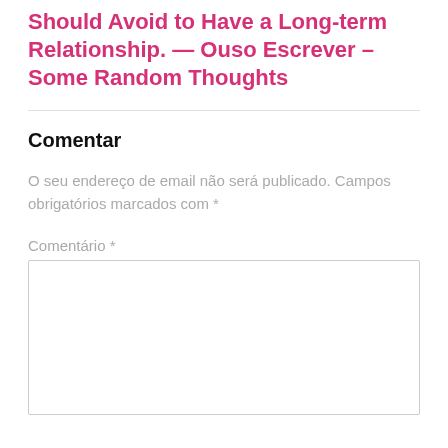Should Avoid to Have a Long-term Relationship. — Ouso Escrever – Some Random Thoughts
Comentar
O seu endereço de email não será publicado. Campos obrigatórios marcados com *
Comentário *